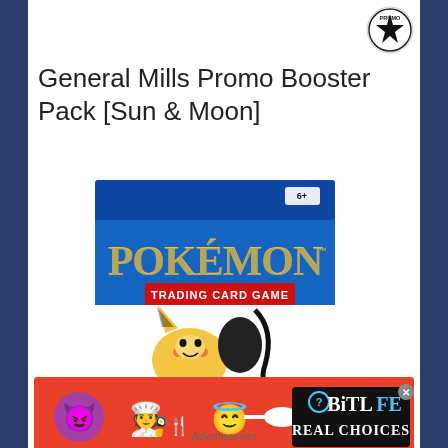[Figure (logo): Circular PROMO badge with star, black and white]
General Mills Promo Booster Pack [Sun & Moon]
[Figure (photo): Pokemon Trading Card Game booster pack with Pikachu and another Pokemon character on the front, blue background with Pokemon logo in yellow, Trading Card Game in red banner, age 6+ label]
[Figure (other): BitLife advertisement banner with emoji characters and text REAL CHOICES on red/orange background]
Advertisement